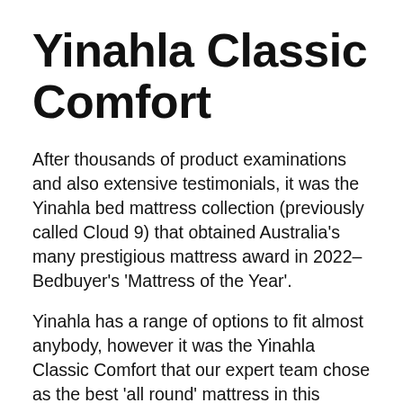Yinahla Classic Comfort
After thousands of product examinations and also extensive testimonials, it was the Yinahla bed mattress collection (previously called Cloud 9) that obtained Australia’s many prestigious mattress award in 2022–Bedbuyer’s ‘Mattress of the Year’.
Yinahla has a range of options to fit almost anybody, however it was the Yinahla Classic Comfort that our expert team chose as the best ‘all round’ mattress in this collection.
The Yinahla Classic Comfort has a beautiful